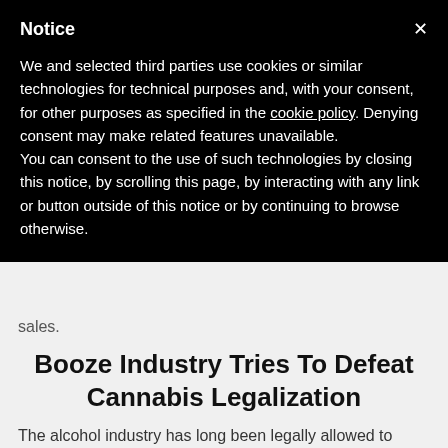Notice
We and selected third parties use cookies or similar technologies for technical purposes and, with your consent, for other purposes as specified in the cookie policy. Denying consent may make related features unavailable.
You can consent to the use of such technologies by closing this notice, by scrolling this page, by interacting with any link or button outside of this notice or by continuing to browse otherwise.
sales.
Booze Industry Tries To Defeat Cannabis Legalization
The alcohol industry has long been legally allowed to advertise and market products that can be inherently harmful when used as directed, and downright fatal when consumed to excess.